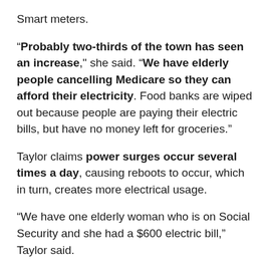Smart meters.
“Probably two-thirds of the town has seen an increase,” she said. “We have elderly people cancelling Medicare so they can afford their electricity. Food banks are wiped out because people are paying their electric bills, but have no money left for groceries.”
Taylor claims power surges occur several times a day, causing reboots to occur, which in turn, creates more electrical usage.
“We have one elderly woman who is on Social Security and she had a $600 electric bill,” Taylor said.
“She had been in the hospital with colon cancer, so she wasn’t using electricity. She comes home and her electric bill while in the hospital was almost $300.”